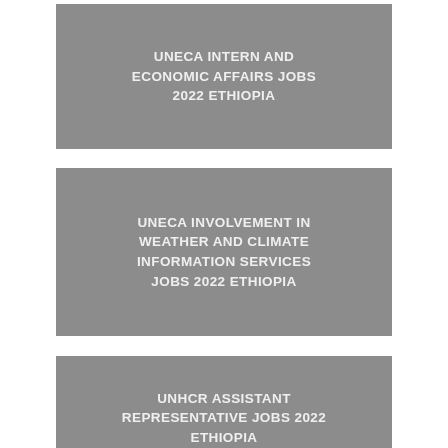UNECA INTERN AND ECONOMIC AFFAIRS JOBS 2022 ETHIOPIA
UNECA INVOLVEMENT IN WEATHER AND CLIMATE INFORMATION SERVICES JOBS 2022 ETHIOPIA
UNHCR ASSISTANT REPRESENTATIVE JOBS 2022 ETHIOPIA